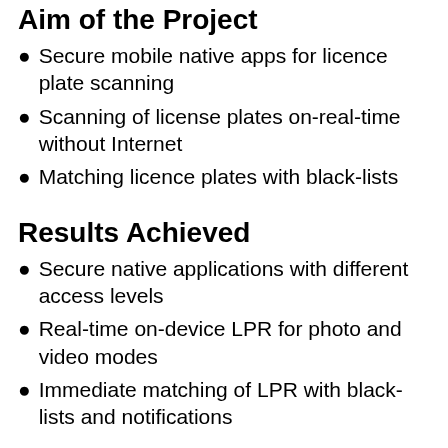Aim of the Project
Secure mobile native apps for licence plate scanning
Scanning of license plates on-real-time without Internet
Matching licence plates with black-lists
Results Achieved
Secure native applications with different access levels
Real-time on-device LPR for photo and video modes
Immediate matching of LPR with black-lists and notifications